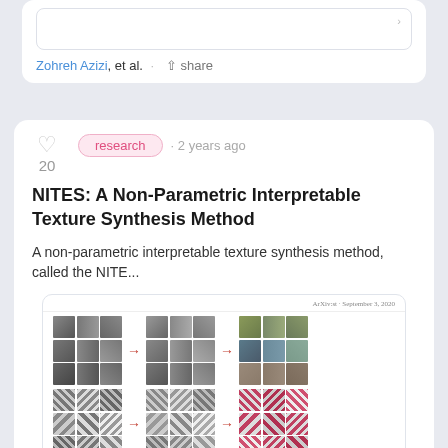Zohreh Azizi, et al. · share
research · 2 years ago
NITES: A Non-Parametric Interpretable Texture Synthesis Method
A non-parametric interpretable texture synthesis method, called the NITE...
[Figure (illustration): Preview thumbnail of a research paper showing texture synthesis results: three groups of texture image grids arranged in rows, each group showing source textures, intermediate processed textures with red arrows between them, and synthesized output textures.]